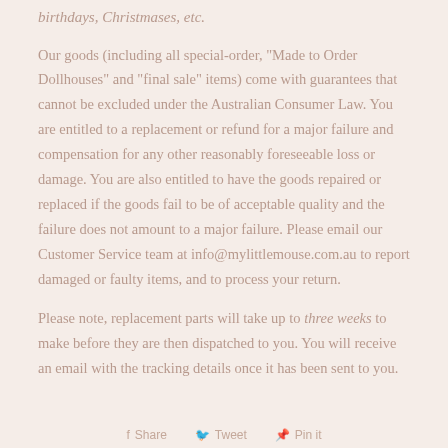birthdays, Christmases, etc.
Our goods (including all special-order, "Made to Order Dollhouses" and "final sale" items) come with guarantees that cannot be excluded under the Australian Consumer Law. You are entitled to a replacement or refund for a major failure and compensation for any other reasonably foreseeable loss or damage. You are also entitled to have the goods repaired or replaced if the goods fail to be of acceptable quality and the failure does not amount to a major failure. Please email our Customer Service team at info@mylittlemouse.com.au to report damaged or faulty items, and to process your return.
Please note, replacement parts will take up to three weeks to make before they are then dispatched to you. You will receive an email with the tracking details once it has been sent to you.
Share   Tweet   Pin it